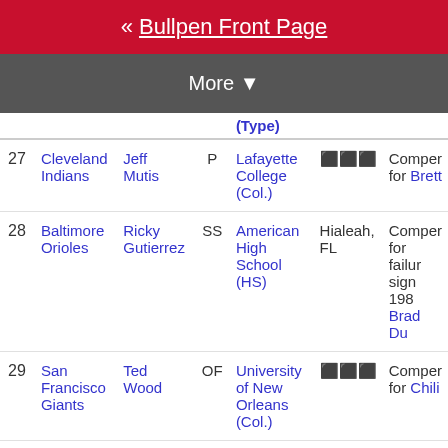« Bullpen Front Page
More ▼
| # | Team | Player | Pos | School (Type) | City | Note |
| --- | --- | --- | --- | --- | --- | --- |
| 27 | Cleveland Indians | Jeff Mutis | P | Lafayette College (Col.) | ⬛⬛⬛ | Compen... for Brett... |
| 28 | Baltimore Orioles | Ricky Gutierrez | SS | American High School (HS) | Hialeah, FL | Compen... for failur... sign 198... Brad Du... |
| 29 | San Francisco Giants | Ted Wood | OF | University of New Orleans (Col.) | ⬛⬛⬛ | Compen... for Chili... |
| 30 | St. Louis Cardinals | Brian Jordan | OF | University of Richmond (Col.) | ⬛⬛⬛ | Compen... for Jack... |